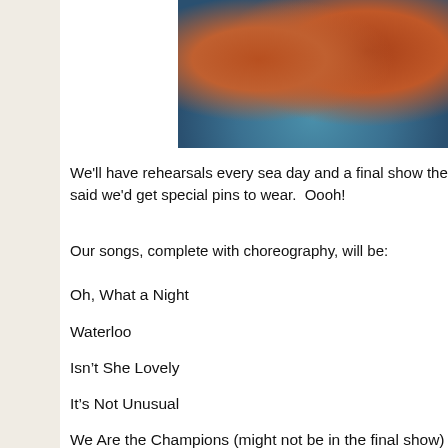[Figure (photo): Photo of orange/red upholstered chairs on a blue patterned rug, partial view cropped at top]
We'll have rehearsals every sea day and a final show the said we'd get special pins to wear. Oooh!
Our songs, complete with choreography, will be:
Oh, What a Night
Waterloo
Isn't She Lovely
It's Not Unusual
We Are the Champions (might not be in the final show)
Sweet Caroline
We Will Rock You
We will be wearing black and white (where have I heard t